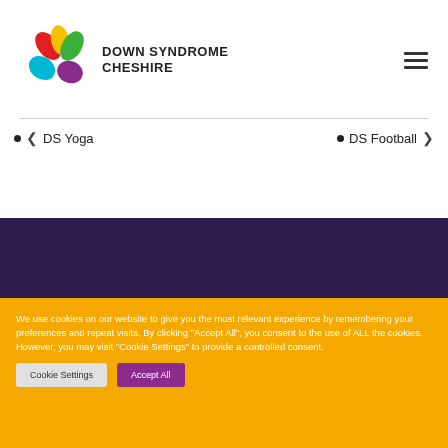[Figure (logo): Down Syndrome Cheshire logo with colorful petal shapes and text]
DS Yoga
DS Football
We use cookies on our website to give you the most relevant experience by remembering your preferences and repeat visits. By clicking "Accept All", you consent to the use of ALL the cookies. However, you may visit "Cookie Settings" to provide a controlled consent.
Cookie Settings
Accept All